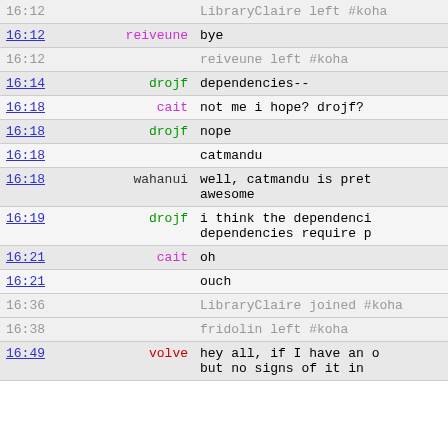| time | nick | message |
| --- | --- | --- |
| 16:12 |  | LibraryClaire left #koha |
| 16:12 | reiveune | bye |
| 16:12 |  | reiveune left #koha |
| 16:14 | drojf | dependencies-- |
| 16:18 | cait | not me i hope? drojf? |
| 16:18 | drojf | nope |
| 16:18 |  | catmandu |
| 16:18 | wahanui | well, catmandu is pret awesome |
| 16:19 | drojf | i think the dependenci dependencies require p |
| 16:21 | cait | oh |
| 16:21 |  | ouch |
| 16:36 |  | LibraryClaire joined #koha |
| 16:38 |  | fridolin left #koha |
| 16:49 | volve | hey all, if I have an but no signs of it in |